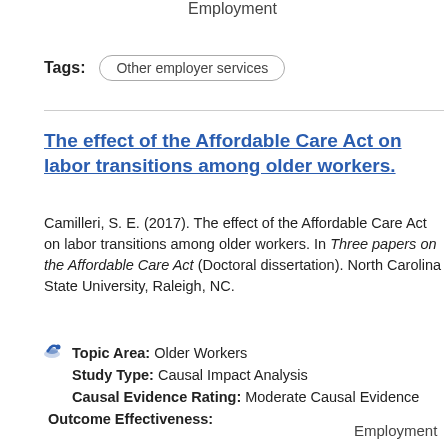Employment
Tags: Other employer services
The effect of the Affordable Care Act on labor transitions among older workers.
Camilleri, S. E. (2017). The effect of the Affordable Care Act on labor transitions among older workers. In Three papers on the Affordable Care Act (Doctoral dissertation). North Carolina State University, Raleigh, NC.
Topic Area: Older Workers
Study Type: Causal Impact Analysis
Causal Evidence Rating: Moderate Causal Evidence
Outcome Effectiveness:
Employment